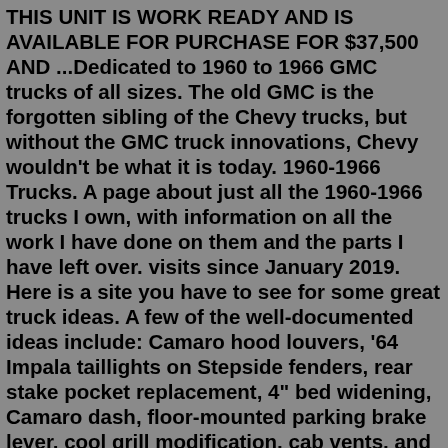THIS UNIT IS WORK READY AND IS AVAILABLE FOR PURCHASE FOR $37,500 AND ...Dedicated to 1960 to 1966 GMC trucks of all sizes. The old GMC is the forgotten sibling of the Chevy trucks, but without the GMC truck innovations, Chevy wouldn't be what it is today. 1960-1966 Trucks. A page about just all the 1960-1966 trucks I own, with information on all the work I have done on them and the parts I have left over. visits since January 2019. Here is a site you have to see for some great truck ideas. A few of the well-documented ideas include: Camaro hood louvers, '64 Impala taillights on Stepside fenders, rear stake pocket replacement, 4" bed widening, Camaro dash, floor-mounted parking brake lever, cool grill modification, cab vents, and a ton of other ... Website: https://www.brotherstrucks.com/In this video Dave takes on a step-by step walk through shortening a long Bedside to make it a short Bedside for any ... Find 60 Gmc in For Sale. New listings: 1973-80 GMC Pickup Truck Rear Cab Moulding - $60 (lorida florida), 88-98 Chevy gmc truck front bumper - $60